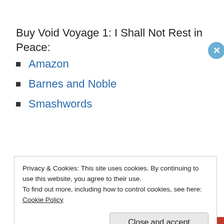Buy Void Voyage 1: I Shall Not Rest in Peace:
Amazon
Barnes and Noble
Smashwords
December 6, 2011
8 Replies
Privacy & Cookies: This site uses cookies. By continuing to use this website, you agree to their use.
To find out more, including how to control cookies, see here: Cookie Policy
Close and accept